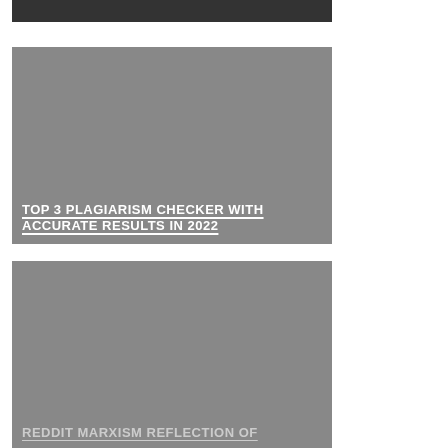[Figure (screenshot): Partial card at top with dark background, text partially visible]
[Figure (screenshot): Card with grey background and bold white text: TOP 3 PLAGIARISM CHECKER WITH ACCURATE RESULTS IN 2022]
[Figure (screenshot): Card with grey background and bold white text: HOW CAN I TAKE CARE OF ACCOM VPN]
[Figure (screenshot): Partial card at bottom with grey background, text partially visible: REDDIT MARXISM REFLECTION OF]